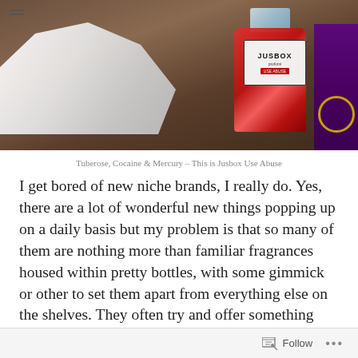[Figure (photo): Photo of a red Jusbox perfume bottle on a wooden surface next to white draped fabric and a purple item with gold circle on the right edge. A hamburger menu icon is visible in the top left.]
Tuberose, Cocaine & Mercury – This is Jusbox Use Abuse
I get bored of new niche brands, I really do. Yes, there are a lot of wonderful new things popping up on a daily basis but my problem is that so many of them are nothing more than familiar fragrances housed within pretty bottles, with some gimmick or other to set them apart from everything else on the shelves. They often try and offer something new, something exciting, but in more cases than not it's just the emperor's new clothes – pretty packaging, yes, but what's within is nothing more than derivative
Follow ...